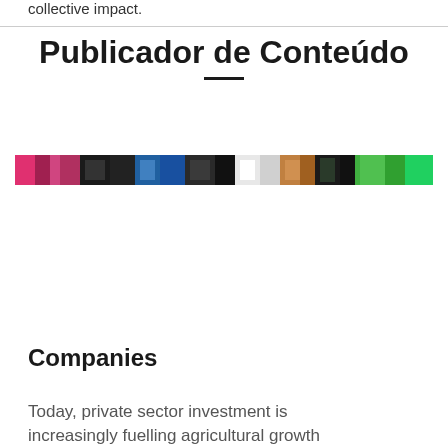collective impact.
Publicador de Conteúdo
[Figure (photo): A horizontal strip of colorful photos showing various scenes including people and products]
Companies
Today, private sector investment is increasingly fuelling agricultural growth